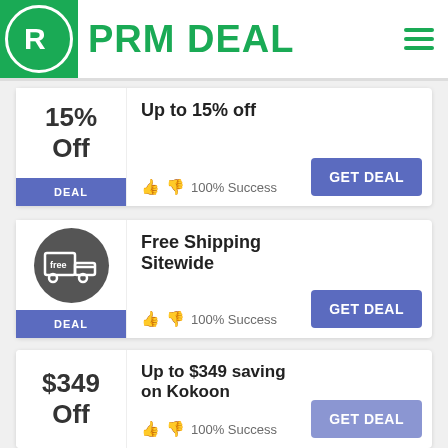PRM DEAL
Up to 15% off
100% Success
Free Shipping Sitewide
100% Success
Up to $349 saving on Kokoon
100% Success